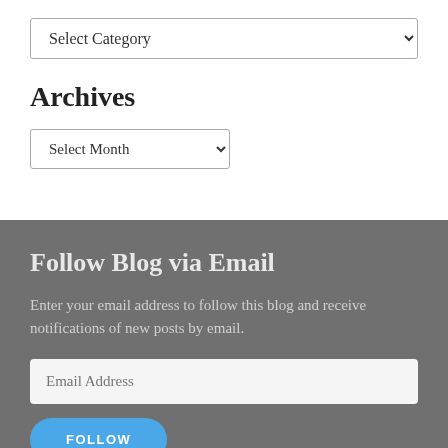Select Category
Archives
Select Month
Follow Blog via Email
Enter your email address to follow this blog and receive notifications of new posts by email.
Email Address
FOLLOW